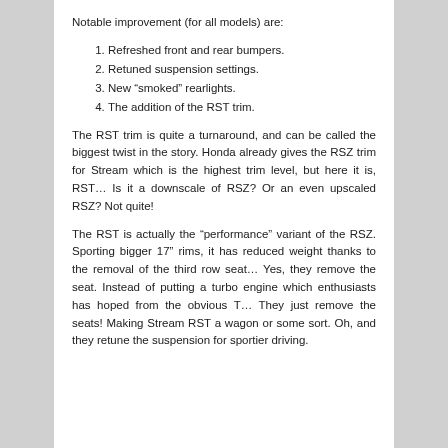Notable improvement (for all models) are:
Refreshed front and rear bumpers.
Retuned suspension settings.
New “smoked” rearlights.
The addition of the RST trim.
The RST trim is quite a turnaround, and can be called the biggest twist in the story. Honda already gives the RSZ trim for Stream which is the highest trim level, but here it is, RST… Is it a downscale of RSZ? Or an even upscaled RSZ? Not quite!
The RST is actually the “performance” variant of the RSZ. Sporting bigger 17” rims, it has reduced weight thanks to the removal of the third row seat… Yes, they remove the seat. Instead of putting a turbo engine which enthusiasts has hoped from the obvious T… They just remove the seats! Making Stream RST a wagon or some sort. Oh, and they retune the suspension for sportier driving.